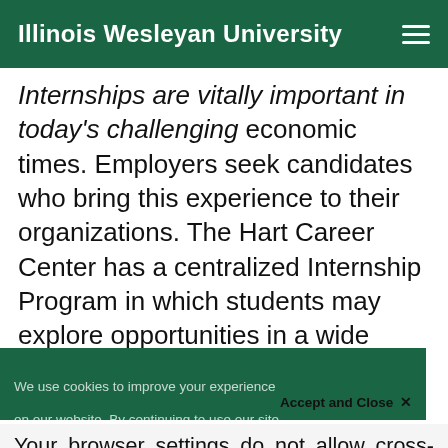Illinois Wesleyan University
Internships are vitally important in today's challenging economic times. Employers seek candidates who bring this experience to their organizations. The Hart Career Center has a centralized Internship Program in which students may explore opportunities in a wide variety of fields. To manage our Internship Program and other services to students (On Campus...
We use cookies to improve your experience on our website. By continuing to use our site...
Accept and Close ✕
Your browser settings do not allow cross-site tracking for advertising. Click on this page to allow AdRoll to use cross-site tracking to tailor ads to you. Learn more or opt out of this AdRoll tracking by clicking here. This message only appears once.